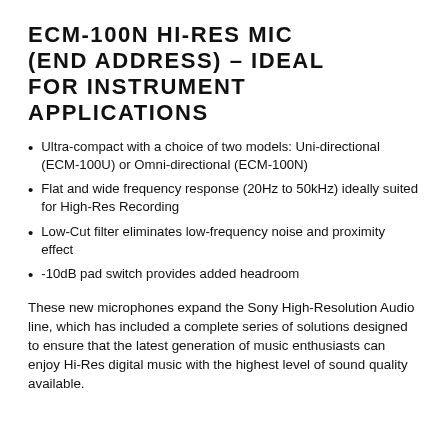ECM-100N HI-RES MIC (END ADDRESS) – IDEAL FOR INSTRUMENT APPLICATIONS
Ultra-compact with a choice of two models: Uni-directional (ECM-100U) or Omni-directional (ECM-100N)
Flat and wide frequency response (20Hz to 50kHz) ideally suited for High-Res Recording
Low-Cut filter eliminates low-frequency noise and proximity effect
-10dB pad switch provides added headroom
These new microphones expand the Sony High-Resolution Audio line, which has included a complete series of solutions designed to ensure that the latest generation of music enthusiasts can enjoy Hi-Res digital music with the highest level of sound quality available.